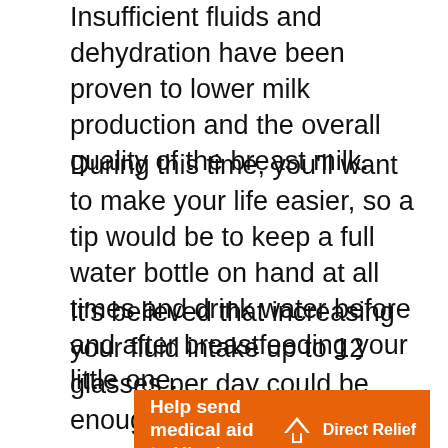Insufficient fluids and dehydration have been proven to lower milk production and the overall quality of the breast milk.
During this time, you'll want to make your life easier, so a tip would be to keep a full water bottle on hand at all times and drink water before and after breastfeeding your little one.
It's believed that increasing your fluid intake up to 12 glasses per day could be enough for a breastfeeding mom, but always look for signs of dehydration or overhydration.
[Figure (other): Orange advertisement banner for Direct Relief charity: 'Help send medical aid to Ukraine >>' with Direct Relief logo on the right]